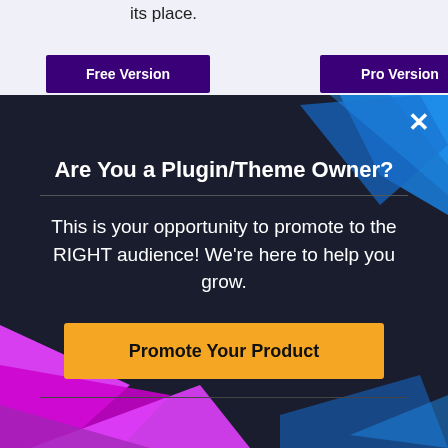its place.
Free Version
Pro Version
[Figure (screenshot): Modal popup overlay with dark background, geometric shapes in blue top-right and pink/magenta bottom-left, close button (×) in top-right corner]
Are You a Plugin/Theme Owner?
This is your opportunity to promote to the RIGHT audience! We're here to help you grow.
Promote Your Product